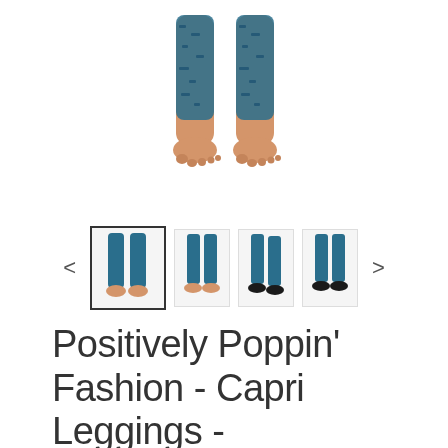[Figure (photo): Main product photo showing lower legs and feet of a model wearing teal/blue patterned capri leggings, cropped at knees, white background]
[Figure (photo): Thumbnail carousel with left arrow, four product thumbnail images of capri leggings in various poses, and right arrow. First thumbnail is selected with border.]
Positively Poppin' Fashion - Capri Leggings - CARIBELLEH